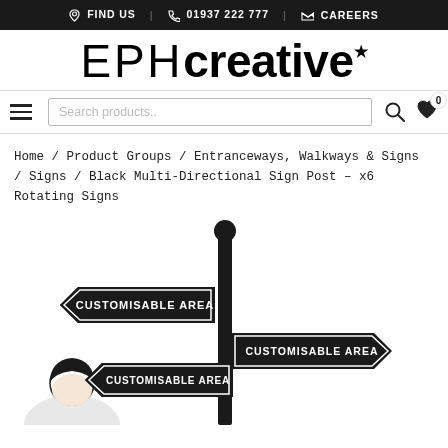FIND US | 01937 222 777 | CAREERS
EPH creative
Search products..
Home / Product Groups / Entranceways, Walkways & Signs / Signs / Black Multi-Directional Sign Post – x6 Rotating Signs
[Figure (photo): Product photo of a black multi-directional sign post with multiple arrow-shaped signs reading CUSTOMISABLE AREA, against a white background, with partial view of a person in the lower left.]